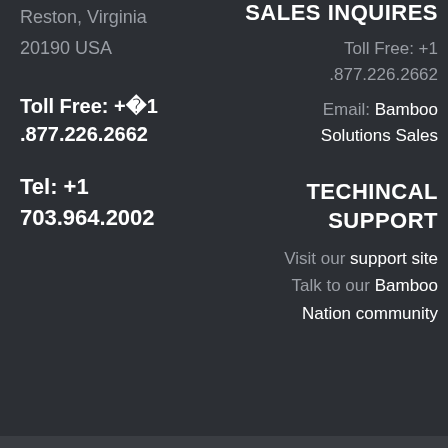Reston, Virginia
20190 USA
Toll Free: +�1 .877.226.2662
Tel: +1 703.964.2002
SALES INQUIRES
Toll Free: +1 .877.226.2662
Email: Bamboo Solutions Sales
TECHINCAL SUPPORT
Visit our support site
Talk to our Bamboo Nation community